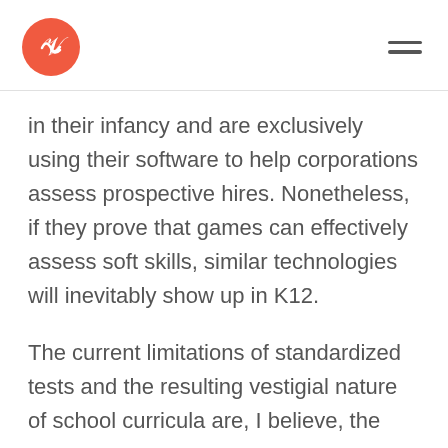[Logo and navigation header]
in their infancy and are exclusively using their software to help corporations assess prospective hires. Nonetheless, if they prove that games can effectively assess soft skills, similar technologies will inevitably show up in K12.
The current limitations of standardized tests and the resulting vestigial nature of school curricula are, I believe, the